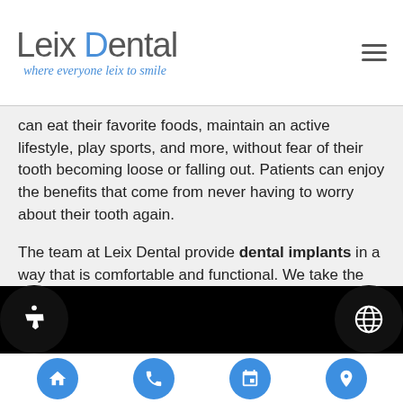Leix Dental – where everyone leix to smile
can eat their favorite foods, maintain an active lifestyle, play sports, and more, without fear of their tooth becoming loose or falling out. Patients can enjoy the benefits that come from never having to worry about their tooth again.
The team at Leix Dental provide dental implants in a way that is comfortable and functional. We take the time to make sure that every aspect of the procedure is completed correctly – the first time.